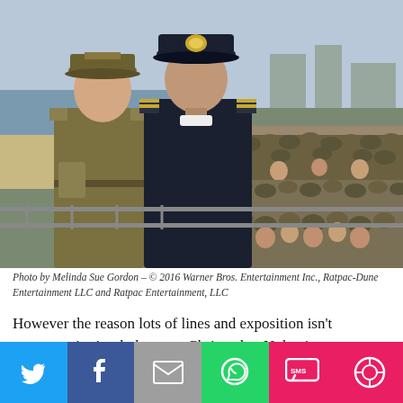[Figure (photo): Two men in military/naval uniforms standing on a pier with soldiers massed in the background. Scene from the film Dunkirk.]
Photo by Melinda Sue Gordon – © 2016 Warner Bros. Entertainment Inc., Ratpac-Dune Entertainment LLC and Ratpac Entertainment, LLC
However the reason lots of lines and exposition isn't necessary is simply because Christopher Nolan is an expert filmmaker, realising that the true power of cinema is to